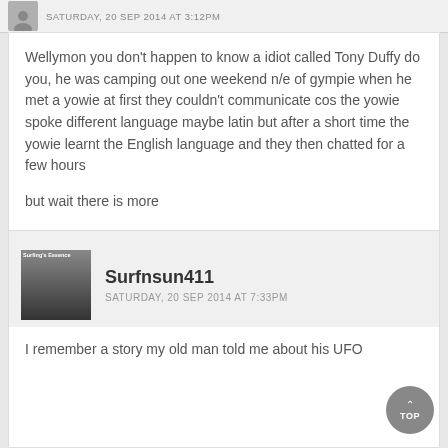SATURDAY, 20 SEP 2014 at 3:12PM
Wellymon you don't happen to know a idiot called Tony Duffy do you, he was camping out one weekend n/e of gympie when he met a yowie at first they couldn't communicate cos the yowie spoke different language maybe latin but after a short time the yowie learnt the English language and they then chatted for a few hours

but wait there is more

the next night the yowie returned with his wife and daughter .
F. F. S.
Surfnsun411
SATURDAY, 20 SEP 2014 at 7:33PM
I remember a story my old man told me about his UFO